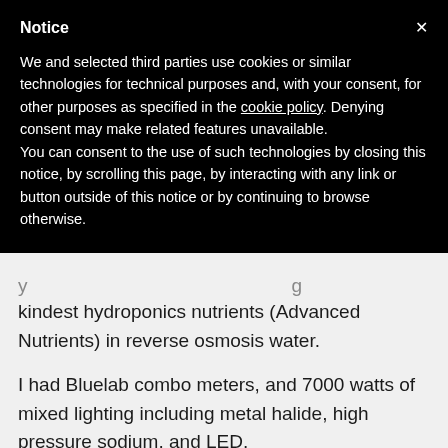Notice
We and selected third parties use cookies or similar technologies for technical purposes and, with your consent, for other purposes as specified in the cookie policy. Denying consent may make related features unavailable.
You can consent to the use of such technologies by closing this notice, by scrolling this page, by interacting with any link or button outside of this notice or by continuing to browse otherwise.
kindest hydroponics nutrients (Advanced Nutrients) in reverse osmosis water.
I had Bluelab combo meters, and 7000 watts of mixed lighting including metal halide, high pressure sodium, and LED.
But then my marriage broke up, and it was a nasty breakup.